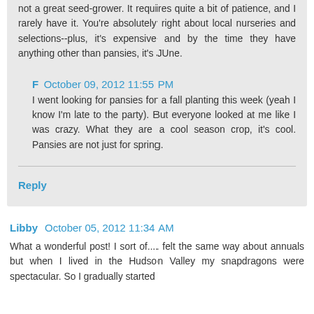not a great seed-grower. It requires quite a bit of patience, and I rarely have it. You're absolutely right about local nurseries and selections--plus, it's expensive and by the time they have anything other than pansies, it's JUne.
F  October 09, 2012 11:55 PM
I went looking for pansies for a fall planting this week (yeah I know I'm late to the party). But everyone looked at me like I was crazy. What they are a cool season crop, it's cool. Pansies are not just for spring.
Reply
Libby  October 05, 2012 11:34 AM
What a wonderful post! I sort of.... felt the same way about annuals but when I lived in the Hudson Valley my snapdragons were spectacular. So I gradually started